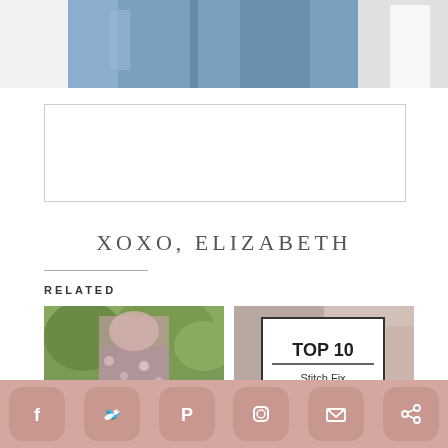[Figure (photo): Cropped photo showing a person in blue jeans from waist down, with a light background]
[Figure (other): Empty bordered advertisement box]
XOXO, ELIZABETH
RELATED
[Figure (photo): Floral Romper Style - outdoor photo of a woman in a floral romper]
Floral Romper Style
[Figure (other): Top 10 Stitch Fix Outfits - graphic with text]
Top 10 Stitch Fix Outfits
[Figure (other): Social sharing bar with Facebook, Twitter, Pinterest, Instagram, Email, and Share icons]